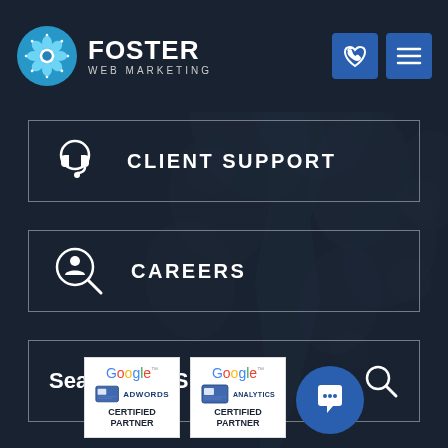[Figure (logo): Foster Web Marketing logo with circular blue snowflake/asterisk icon and white text 'FOSTER WEB MARKETING']
[Figure (illustration): Dark blue tree silhouette background covering most of the page]
CLIENT SUPPORT
CAREERS
Search Our Site
[Figure (logo): Google AdWords Certified Partner badge]
[Figure (logo): Google Analytics Certified Partner badge]
[Figure (illustration): Blue circular chat/message button icon]